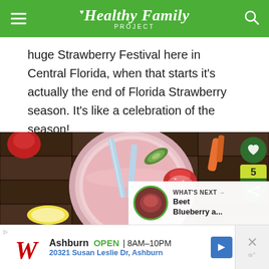Healthy Family Project
huge Strawberry Festival here in Central Florida, when that starts it's actually the end of Florida Strawberry season. It's like a celebration of the season!
[Figure (photo): Top-down view of a pink strawberry smoothie in a mason jar with blue striped straws, a strawberry slice on the rim, cucumber slices, carrots, and banana slices on a wooden cutting board background. Social share buttons visible on right side. 'What's Next: Beet Blueberry a...' overlay in bottom right.]
[Figure (screenshot): Advertisement for Walgreens: Ashburn OPEN 8AM-10PM, 20321 Susan Leslie Dr, Ashburn]